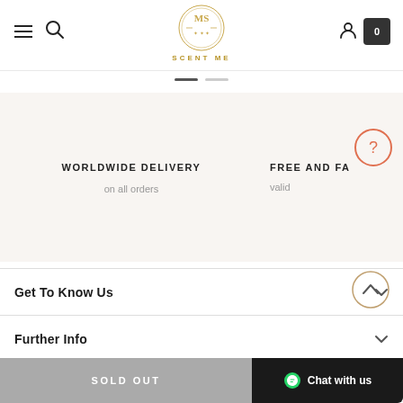[Figure (logo): Scent Me logo with gold emblem and text SCENT ME]
WORLDWIDE DELIVERY
on all orders
FREE AND FA...
valid
Get To Know Us
Further Info
Top Brands
SOLD OUT
Chat with us